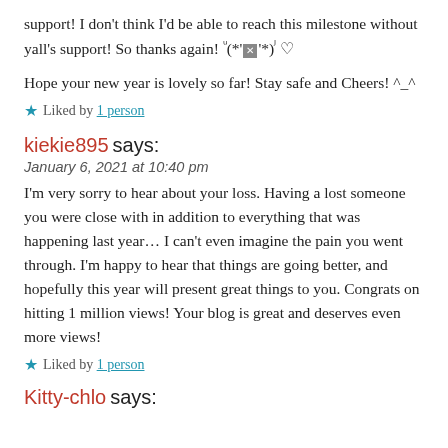support! I don't think I'd be able to reach this milestone without yall's support! So thanks again! ᵘ(*'✖'*)ᴶ ♡
Hope your new year is lovely so far! Stay safe and Cheers! ^_^
★ Liked by 1 person
kiekie895 says:
January 6, 2021 at 10:40 pm
I'm very sorry to hear about your loss. Having a lost someone you were close with in addition to everything that was happening last year… I can't even imagine the pain you went through. I'm happy to hear that things are going better, and hopefully this year will present great things to you. Congrats on hitting 1 million views! Your blog is great and deserves even more views!
★ Liked by 1 person
Kitty-chlo says: